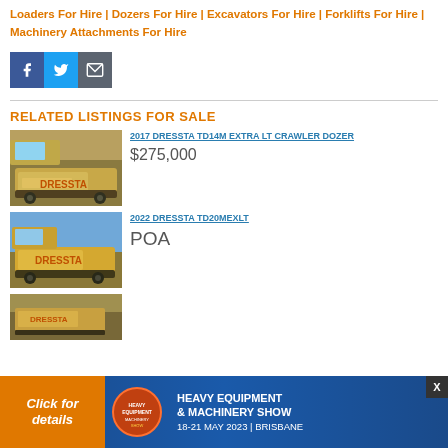Loaders For Hire | Dozers For Hire | Excavators For Hire | Forklifts For Hire | Machinery Attachments For Hire
[Figure (infographic): Social sharing buttons: Facebook (blue), Twitter (light blue), Email (grey)]
RELATED LISTINGS FOR SALE
[Figure (photo): Yellow Dressta crawler dozer - 2017 TD14M Extra LT]
2017 DRESSTA TD14M EXTRA LT CRAWLER DOZER
$275,000
[Figure (photo): Yellow Dressta crawler dozer against blue sky - 2022 TD20MEXLT]
2022 DRESSTA TD20MEXLT
POA
[Figure (photo): Third dozer listing thumbnail, partially visible]
[Figure (infographic): Advertisement banner: Heavy Equipment & Machinery Show, 18-21 May 2023, Brisbane. Orange left panel with 'Click for details', circular logo, blue background with show text. X close button.]